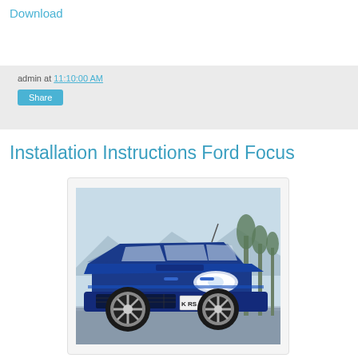Download
admin at 11:10:00 AM
Share
Installation Instructions Ford Focus
[Figure (photo): Blue Ford Focus RS performance hatchback car, viewed from front-left angle, with German license plate K RS 6304, parked on road with trees and mountains in background.]